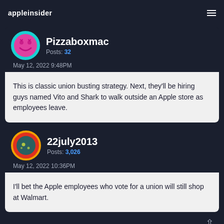appleinsider
Pizzaboxmac
Posts: 32
May 12, 2022 9:48PM
This is classic union busting strategy. Next, they'll be hiring guys named Vito and Shark to walk outside an Apple store as employees leave.
22july2013
Posts: 3,026
May 12, 2022 10:36PM
I'll bet the Apple employees who vote for a union will still shop at Walmart.